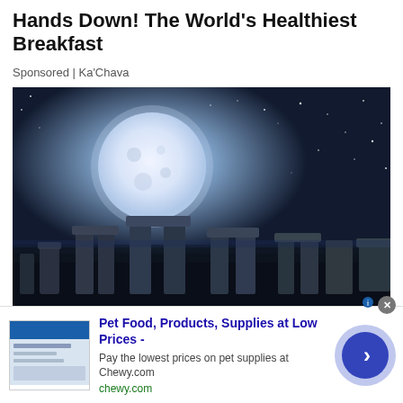Hands Down! The World's Healthiest Breakfast
Sponsored | Ka'Chava
[Figure (photo): Stonehenge monument at night under a large full moon with a starry blue sky]
[Figure (infographic): Advertisement banner for Chewy.com - Pet Food, Products, Supplies at Low Prices. Pay the lowest prices on pet supplies at Chewy.com. URL: chewy.com. Includes thumbnail image, text, and a circular arrow button.]